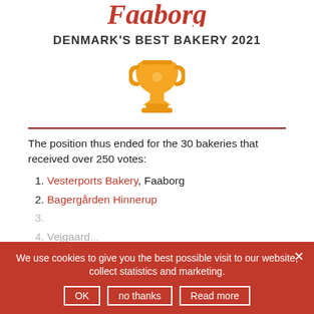Faaborg
DENMARK'S BEST BAKERY 2021
[Figure (illustration): Gold trophy cup icon]
The position thus ended for the 30 bakeries that received over 250 votes:
1. Vesterports Bakery, Faaborg
2. Bagergården Hinnerup
4. Vejgaard...
5. Sønder Bakery, Stende...
We use cookies to give you the best possible visit to our website, collect statistics and marketing.
OK | no thanks | Read more